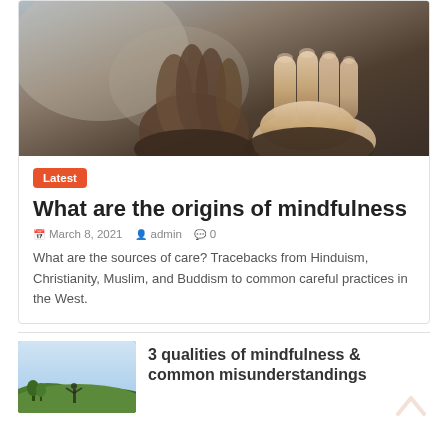[Figure (photo): Hands pressed together in prayer position, close-up photograph with blurred background]
Latest
What are the origins of mindfulness
March 8, 2021   admin   0
What are the sources of care? Tracebacks from Hinduism, Christianity, Muslim, and Buddism to common careful practices in the West.
[Figure (photo): Person standing outdoors in a landscape with hills and green trees]
3 qualities of mindfulness & common misunderstandings